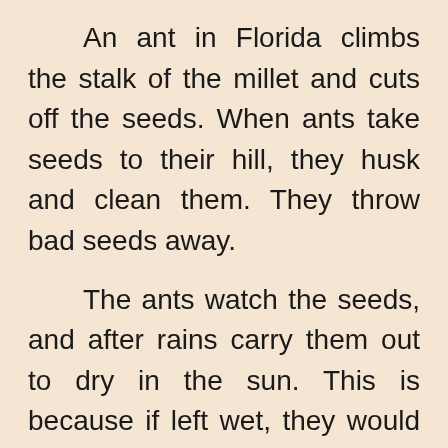An ant in Florida climbs the stalk of the millet and cuts off the seeds. When ants take seeds to their hill, they husk and clean them. They throw bad seeds away.
The ants watch the seeds, and after rains carry them out to dry in the sun. This is because if left wet, they would sprout and grow.
Some ants also cut the seed